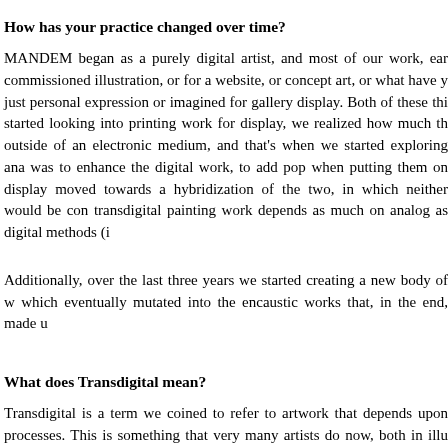How has your practice changed over time?
MANDEM began as a purely digital artist, and most of our work, early on, was commissioned illustration, or for a website, or concept art, or what have you, or it was just personal expression or imagined for gallery display. Both of these things. When we started looking into printing work for display, we realized how much the work gained outside of an electronic medium, and that's when we started exploring analog materials. It was to enhance the digital work, to add pop when putting them on display. But then we moved towards a hybridization of the two, in which neither would be complement — our transdigital painting work depends as much on analog as digital methods (i…
Additionally, over the last three years we started creating a new body of work, which eventually mutated into the encaustic works that, in the end, made u…
What does Transdigital mean?
Transdigital is a term we coined to refer to artwork that depends upon both analog and digital processes. This is something that very many artists do now, both in illustration, but it's either unrecognized or just referred to as "mixed media," which does… Transdigital art could include anything from 3D printed ceramic work…